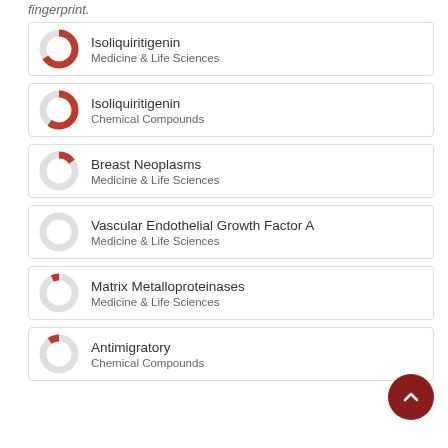fingerprint.
[Figure (donut-chart): Donut chart ~90% filled red, representing Isoliquiritigenin – Medicine & Life Sciences]
Isoliquiritigenin – Medicine & Life Sciences
[Figure (donut-chart): Donut chart ~85% filled red, representing Isoliquiritigenin – Chemical Compounds]
Isoliquiritigenin – Chemical Compounds
[Figure (donut-chart): Donut chart ~40% filled red, representing Breast Neoplasms – Medicine & Life Sciences]
Breast Neoplasms – Medicine & Life Sciences
[Figure (donut-chart): Donut chart ~25% filled red, representing Vascular Endothelial Growth Factor A – Medicine & Life Sciences]
Vascular Endothelial Growth Factor A – Medicine & Life Sciences
[Figure (donut-chart): Donut chart ~18% filled red, representing Matrix Metalloproteinases – Medicine & Life Sciences]
Matrix Metalloproteinases – Medicine & Life Sciences
[Figure (donut-chart): Donut chart ~15% filled red, representing Antimigratory – Chemical Compounds]
Antimigratory – Chemical Compounds